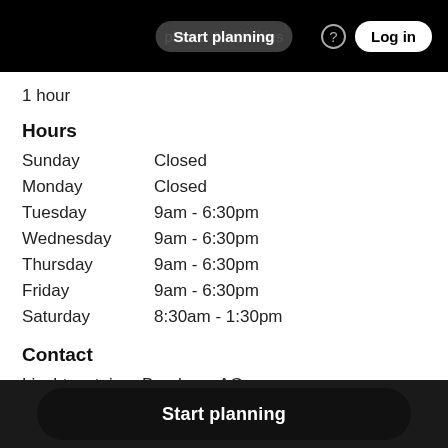Start planning  places & activities  ?  Log in
1 hour
Hours
| Day | Hours |
| --- | --- |
| Sunday | Closed |
| Monday | Closed |
| Tuesday | 9am - 6:30pm |
| Wednesday | 9am - 6:30pm |
| Thursday | 9am - 6:30pm |
| Friday | 9am - 6:30pm |
| Saturday | 8:30am - 1:30pm |
Contact
Liechtensteiner Brauhaus AG,
Im alten Riet 156
Start planning